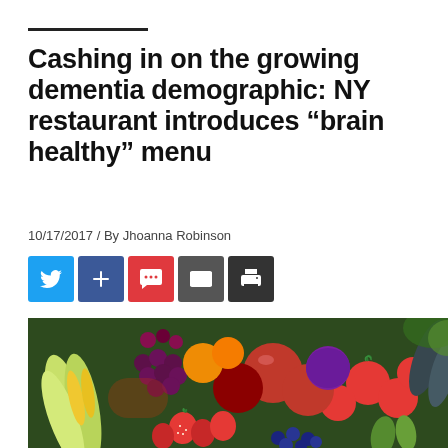Cashing in on the growing dementia demographic: NY restaurant introduces “brain healthy” menu
10/17/2017 / By Jhoanna Robinson
[Figure (infographic): Social sharing buttons: Twitter (blue), Plus (blue), Comment (red), Share (dark grey), Print (dark grey)]
[Figure (photo): Colorful assortment of fresh fruits and vegetables including corn, strawberries, tomatoes, apples, grapes, blueberries, green peppers, cucumbers, and more, photographed close-up.]